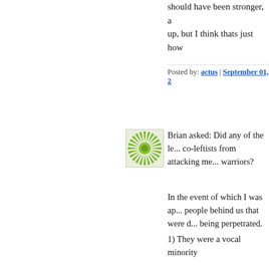should have been stronger, a... up, but I think thats just how...
Posted by: actus | September 01, 2...
[Figure (illustration): Green sunburst/flower avatar icon on light background, square format]
Brian asked: Did any of the le... co-leftists from attacking me... warriors?
In the event of which I was ap... people behind us that were d... being perpetrated.
1) They were a vocal minority
2) They did nothing to actuall... violence (perhaps they were ... goes to show how useful pac... like to right a wrong)
3) They were a vocal minority
Also, the fact that five other g... locations separate (in relative... with exactly the same respon... statistician to conclude that th...